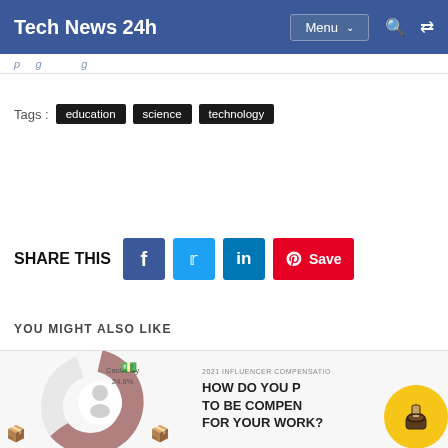Tech News 24h  Menu
Tags :  education  science  technology
SHARE THIS
YOU MIGHT ALSO LIKE
[Figure (donut-chart): Partial donut chart showing 'Cash only 24.8%' segment, with illustration of a person and boxes. Part of a 2021 Influencer Compensation infographic.]
2021 INFLUENCER COMPENSATIO... HOW DO YOU P... TO BE COMPEN... FOR YOUR WORK?